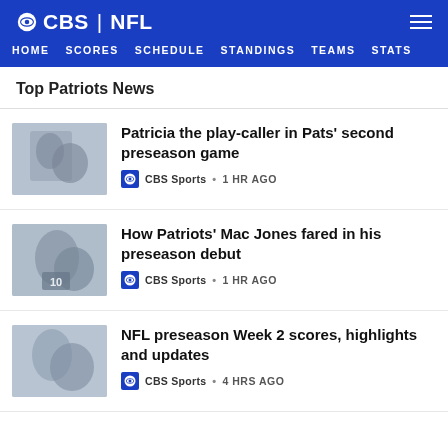CBS | NFL
HOME  SCORES  SCHEDULE  STANDINGS  TEAMS  STATS
Top Patriots News
Patricia the play-caller in Pats' second preseason game
CBS Sports • 1 HR AGO
How Patriots' Mac Jones fared in his preseason debut
CBS Sports • 1 HR AGO
NFL preseason Week 2 scores, highlights and updates
CBS Sports • 4 HRS AGO